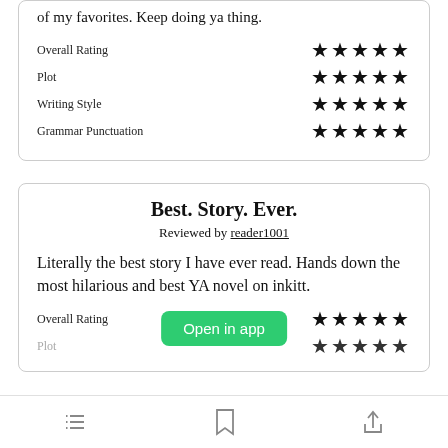of my favorites. Keep doing ya thing.
Overall Rating ★★★★★
Plot ★★★★★
Writing Style ★★★★★
Grammar Punctuation ★★★★★
Best. Story. Ever.
Reviewed by reader1001
Literally the best story I have ever read. Hands down the most hilarious and best YA novel on inkitt.
Overall Rating ★★★★★
Plot ★★★★★